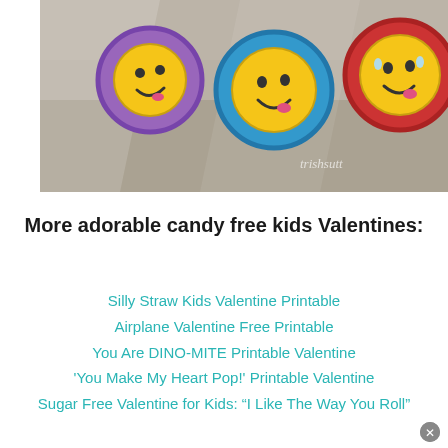[Figure (photo): Photo of emoji stampers (purple, blue, red) with smiley faces in a clear plastic bag on a textured surface, with watermark 'trishsutt...' in bottom right]
More adorable candy free kids Valentines:
Silly Straw Kids Valentine Printable
Airplane Valentine Free Printable
You Are DINO-MITE Printable Valentine
'You Make My Heart Pop!' Printable Valentine
Sugar Free Valentine for Kids: "I Like The Way You Roll"